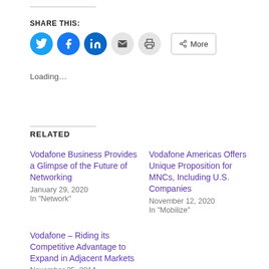SHARE THIS:
[Figure (other): Social sharing icons: Twitter (blue circle), Facebook (blue circle), LinkedIn (dark blue circle), Email (grey circle), Print (grey circle), More button]
Loading...
RELATED
Vodafone Business Provides a Glimpse of the Future of Networking
January 29, 2020
In "Network"
Vodafone Americas Offers Unique Proposition for MNCs, Including U.S. Companies
November 12, 2020
In "Mobilize"
Vodafone – Riding its Competitive Advantage to Expand in Adjacent Markets
November 25, 2014